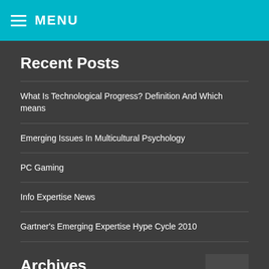MENU
Recent Posts
What Is Technological Progress? Definition And Which means
Emerging Issues In Multicultural Psychology
PC Gaming
Info Expertise News
Gartner's Emerging Expertise Hype Cycle 2010
Archives
Select Month